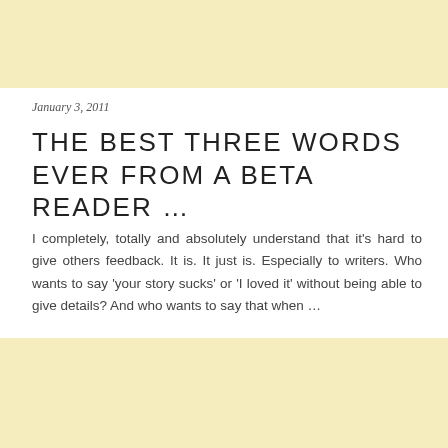[Figure (other): Light yellow/cream banner at top of page]
January 3, 2011
THE BEST THREE WORDS EVER FROM A BETA READER ...
I completely, totally and absolutely understand that it's hard to give others feedback. It is. It just is. Especially to writers. Who wants to say 'your story sucks' or 'I loved it' without being able to give details? And who wants to say that when ...
First Kiss(es)  -  by EmiGayle
[Figure (other): Light yellow/cream banner at bottom of page]